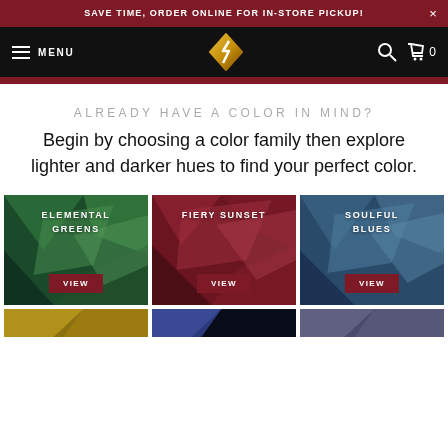SAVE TIME, ORDER ONLINE FOR IN-STORE PICKUP!
[Figure (screenshot): Navigation bar with hamburger menu, MENU label, logo (gold diamond shape with lightning bolt), search icon, and cart icon with 0]
ALREADY HAVE A COLOR IN MIND?
Begin by choosing a color family then explore lighter and darker hues to find your perfect color.
[Figure (infographic): Three color family cards: ELEMENTAL GREENS with green polygon art and VIEW button, FIERY SUNSET with red/maroon polygon art and VIEW button, SOULFUL BLUES with blue/teal polygon art and VIEW button]
[Figure (infographic): Partial bottom row of three more color family cards with yellow/gold, blue/purple, and mixed polygon art backgrounds]